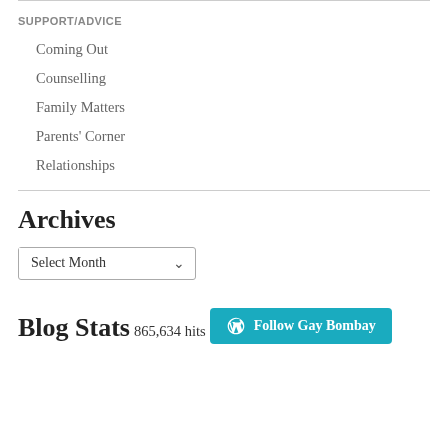SUPPORT/ADVICE
Coming Out
Counselling
Family Matters
Parents' Corner
Relationships
Archives
Select Month
Blog Stats
865,634 hits
Follow Gay Bombay